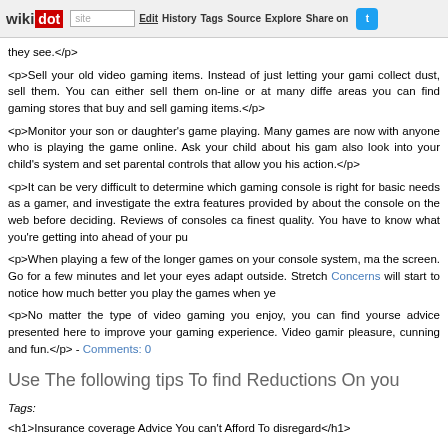wikidot | site Edit History Tags Source Explore Share on [Twitter]
they see.</p>
<p>Sell your old video gaming items. Instead of just letting your gaming collect dust, sell them. You can either sell them on-line or at many different areas you can find gaming stores that buy and sell gaming items.</p>
<p>Monitor your son or daughter's game playing. Many games are now with anyone who is playing the game online. Ask your child about his game also look into your child's system and set parental controls that allow you his action.</p>
<p>It can be very difficult to determine which gaming console is right for basic needs as a gamer, and investigate the extra features provided by about the console on the web before deciding. Reviews of consoles can finest quality. You have to know what you're getting into ahead of your pur</p>
<p>When playing a few of the longer games on your console system, ma the screen. Go for a few minutes and let your eyes adapt outside. Stretch Concerns will start to notice how much better you play the games when ye</p>
<p>No matter the type of video gaming you enjoy, you can find yourself advice presented here to improve your gaming experience. Video gaming pleasure, cunning and fun.</p> - Comments: 0
Use The following tips To find Reductions On you
Tags:
<h1>Insurance coverage Advice You can't Afford To disregard</h1>